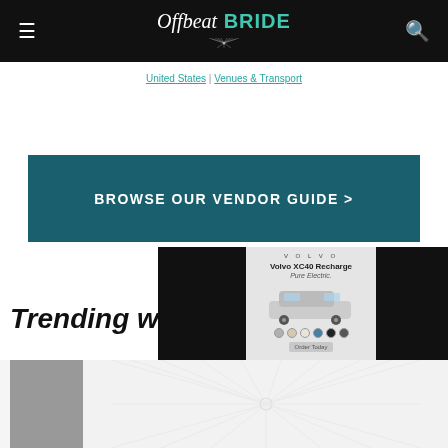Offbeat BRIDE
United States | Venues & Transport
[Figure (other): Browse Our Vendor Guide > banner with dark teal background]
[Figure (other): Volvo XC40 Recharge Pure Electric advertisement overlay]
Trending w
[Figure (other): Thumbnail image strip at bottom with Offbeat Bride sunburst watermark]